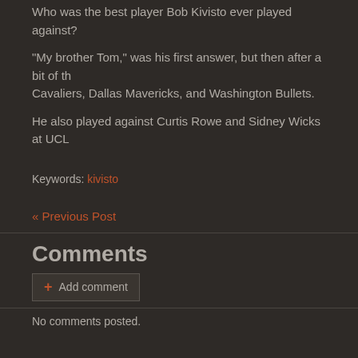Who was the best player Bob Kivisto ever played against?
"My brother Tom," was his first answer, but then after a bit of th… Cavaliers, Dallas Mavericks, and Washington Bullets.
He also played against Curtis Rowe and Sidney Wicks at UCL…
Keywords: kivisto
« Previous Post
Comments
+ Add comment
No comments posted.